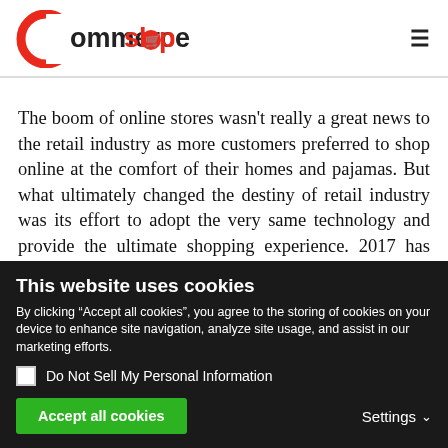[Figure (logo): CommmerceShop logo with red circular C icon and black/red text]
The boom of online stores wasn’t really a great news to the retail industry as more customers preferred to shop online at the comfort of their homes and pajamas. But what ultimately changed the destiny of retail industry was its effort to adopt the very same technology and provide the ultimate shopping experience. 2017 has just
This website uses cookies
By clicking “Accept all cookies”, you agree to the storing of cookies on your device to enhance site navigation, analyze site usage, and assist in our marketing efforts.
Do Not Sell My Personal Information
Accept all cookies
Settings